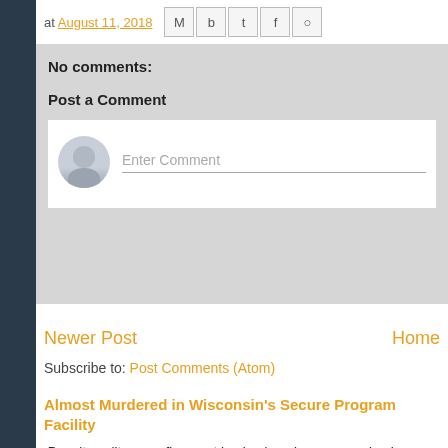at August 11, 2018
No comments:
Post a Comment
Enter Comment
Newer Post
Home
Subscribe to: Post Comments (Atom)
Almost Murdered in Wisconsin's Secure Program Facility
Despite solitary confinement having long been recognized as being tor former U.S. President Obama, Justices of ou...